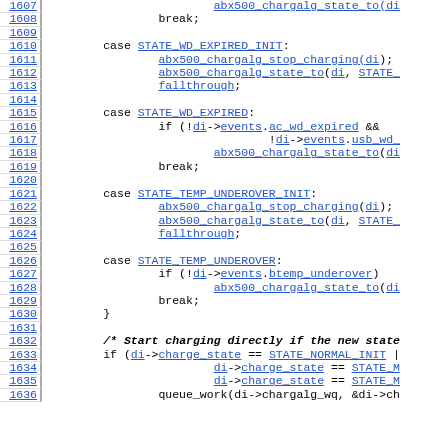[Figure (screenshot): Source code listing showing C code for a charging algorithm state machine, lines 1607-1636, with line numbers on the left and hyperlinked identifiers in blue monospace font.]